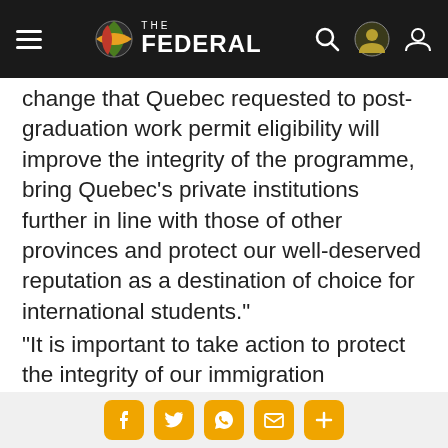THE FEDERAL
change that Quebec requested to post-graduation work permit eligibility will improve the integrity of the programme, bring Quebec’s private institutions further in line with those of other provinces and protect our well-deserved reputation as a destination of choice for international students.”
“It is important to take action to protect the integrity of our immigration programmes, which must promote sustainable integration
Social share icons: Facebook, Twitter, WhatsApp, Email, More